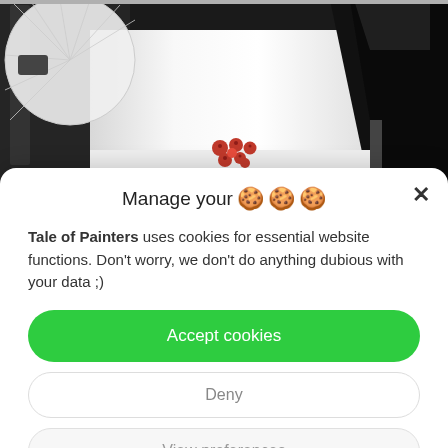[Figure (photo): Studio photography setup showing lighting equipment (umbrella softbox on left, rectangular softbox on right) with a white seamless background paper box in the center containing small red cookie/flower decorative items on a white surface]
Manage your 🍪🍪🍪
Tale of Painters uses cookies for essential website functions. Don't worry, we don't do anything dubious with your data ;)
Accept cookies
Deny
View preferences